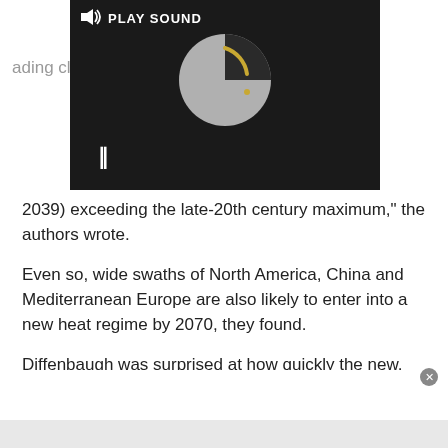[Figure (screenshot): Media player overlay with dark background, PLAY SOUND label with speaker icon, a circular spinner/loading graphic in gray and gold, a pause button (||), a close (X) button top-right, and an expand arrows icon bottom-right.]
2039) exceeding the late-20th century maximum," the authors wrote.
Even so, wide swaths of North America, China and Mediterranean Europe are also likely to enter into a new heat regime by 2070, they found.
Diffenbaugh was surprised at how quickly the new, potentially destructive heat regimes are likely to emerge, given that the study was based on a relatively